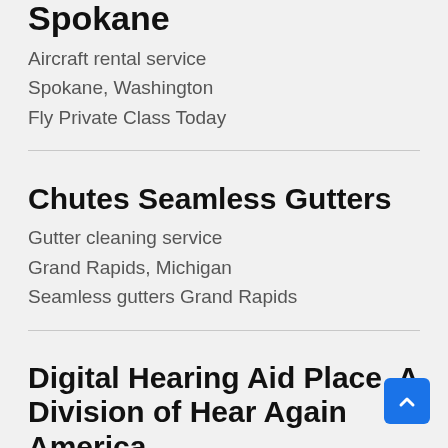Spokane
Aircraft rental service
Spokane, Washington
Fly Private Class Today
Chutes Seamless Gutters
Gutter cleaning service
Grand Rapids, Michigan
Seamless gutters Grand Rapids
Digital Hearing Aid Place, A Division of Hear Again America
Hearing aid store
Naples, Florida